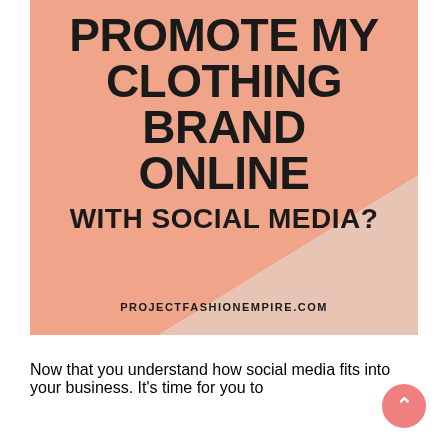[Figure (illustration): Peach/salmon colored background card with bold title text 'PROMOTE MY CLOTHING BRAND ONLINE WITH SOCIAL MEDIA?' and website URL at bottom]
PROMOTE MY CLOTHING BRAND ONLINE
WITH SOCIAL MEDIA?
PROJECTFASHIONEMPIRE.COM
Now that you understand how social media fits into your business. It's time for you to